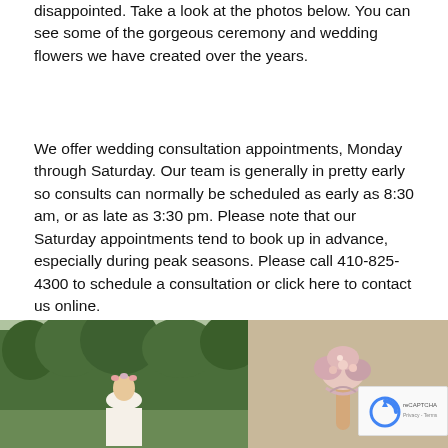disappointed. Take a look at the photos below. You can see some of the gorgeous ceremony and wedding flowers we have created over the years.
We offer wedding consultation appointments, Monday through Saturday. Our team is generally in pretty early so consults can normally be scheduled as early as 8:30 am, or as late as 3:30 pm. Please note that our Saturday appointments tend to book up in advance, especially during peak seasons. Please call 410-825-4300 to schedule a consultation or click here to contact us online.
[Figure (photo): Wedding photo showing a bride outdoors with trees in the background]
[Figure (photo): Close-up photo of a hand holding a small floral arrangement with ribbons, against a beige/tan background]